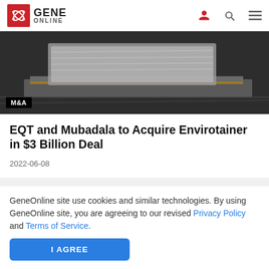GENE ONLINE
[Figure (photo): Cargo freight on a pallet with plastic wrapping on a conveyor or loading dock, with M&A badge overlay]
EQT and Mubadala to Acquire Envirotainer in $3 Billion Deal
2022-06-08
GeneOnline site use cookies and similar technologies. By using GeneOnline site, you are agreeing to our revised Privacy Policy and Terms of Service.
I AGREE